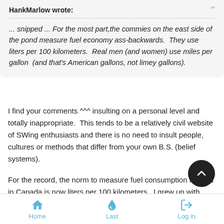HankMarlow wrote:
... snipped ... For the most part,the commies on the east side of the pond measure fuel economy ass-backwards. They use liters per 100 kilometers. Real men (and women) use miles per gallon (and that's American gallons, not limey gallons).
I find your comments ^^^ insulting on a personal level and totally inappropriate. This tends to be a relatively civil website of SWing enthusiasts and there is no need to insult people, cultures or methods that differ from your own B.S. (belief systems).
For the record, the norm to measure fuel consumption metrics in Canada is now liters per 100 kilometers. I grew up with mpg's and had to make the switch. Anything can be learned ... it's about what you are used to and whether you're open and qui... minded enough to make the switch. I feel like measurement tri...
Home  Last  Log in